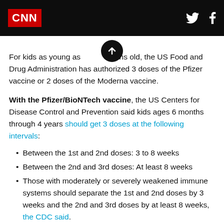CNN
For kids as young as 6 months old, the US Food and Drug Administration has authorized 3 doses of the Pfizer vaccine or 2 doses of the Moderna vaccine.
With the Pfizer/BioNTech vaccine, the US Centers for Disease Control and Prevention said kids ages 6 months through 4 years should get 3 doses at the following intervals:
Between the 1st and 2nd doses: 3 to 8 weeks
Between the 2nd and 3rd doses: At least 8 weeks
Those with moderately or severely weakened immune systems should separate the 1st and 2nd doses by 3 weeks and the 2nd and 3rd doses by at least 8 weeks, the CDC said.
With the Moderna vaccine, the CDC said children ages 6 months through 5 years should get their